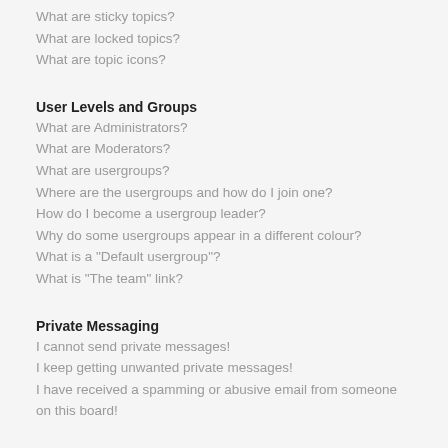What are sticky topics?
What are locked topics?
What are topic icons?
User Levels and Groups
What are Administrators?
What are Moderators?
What are usergroups?
Where are the usergroups and how do I join one?
How do I become a usergroup leader?
Why do some usergroups appear in a different colour?
What is a "Default usergroup"?
What is "The team" link?
Private Messaging
I cannot send private messages!
I keep getting unwanted private messages!
I have received a spamming or abusive email from someone on this board!
Friends and Foes